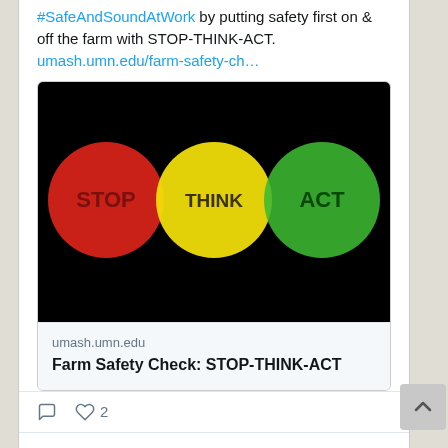#SafeAndSoundAtWork by putting safety first on & off the farm with STOP-THINK-ACT. umash.umn.edu/farm-safety-ch…
[Figure (illustration): Three colored circles on black background: red circle with 'STOP', yellow circle with 'THINK', green circle with 'ACT']
umash.umn.edu
Farm Safety Check: STOP-THINK-ACT
2 likes
View more on Twitter